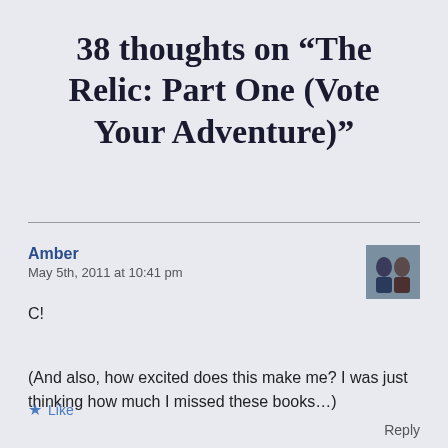38 thoughts on “The Relic: Part One (Vote Your Adventure)”
Amber
May 5th, 2011 at 10:41 pm
C!

(And also, how excited does this make me? I was just thinking how much I missed these books…)
Like
Reply